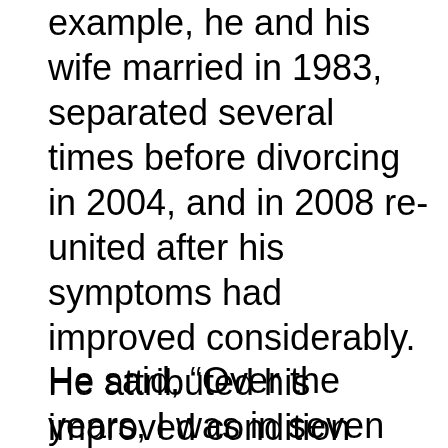example, he and his wife married in 1983, separated several times before divorcing in 2004, and in 2008 re-united after his symptoms had improved considerably. He attributed his improved condition over the last decade to the Veteran's Administration, exercise, a determined will, God, and a loving wife, Genevieve.
He said, “Over the years, I was in seven different (mental health)